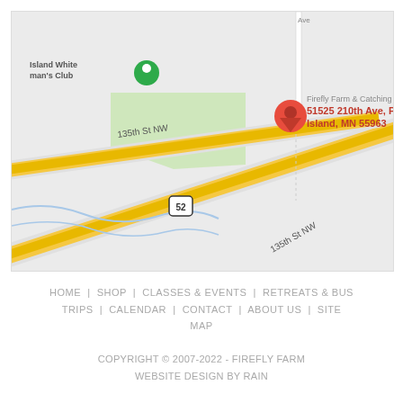[Figure (map): Google Maps screenshot showing location of Firefly Farm & Catching at 51525 210th Ave, Pine Island, MN 55963. Shows 135th St NW, US Route 52 highway, and a nearby location labeled 'Island White man's Club'. A red pin marks the farm location. A green area is visible near the club marker.]
HOME | SHOP | CLASSES & EVENTS | RETREATS & BUS TRIPS | CALENDAR | CONTACT | ABOUT US | SITE MAP
COPYRIGHT © 2007-2022 - FIREFLY FARM
WEBSITE DESIGN BY RAIN